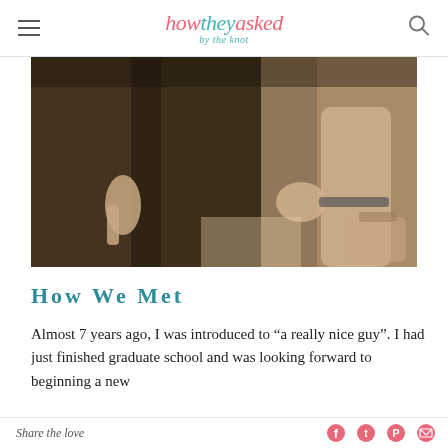how they asked by the knot
[Figure (photo): Sepia-toned photograph showing two people sitting close together, hands and legs visible, one wearing a bracelet/watch, with a bag in the lower right corner.]
How We Met
Almost 7 years ago, I was introduced to “a really nice guy”. I had just finished graduate school and was looking forward to beginning a new
Share the love